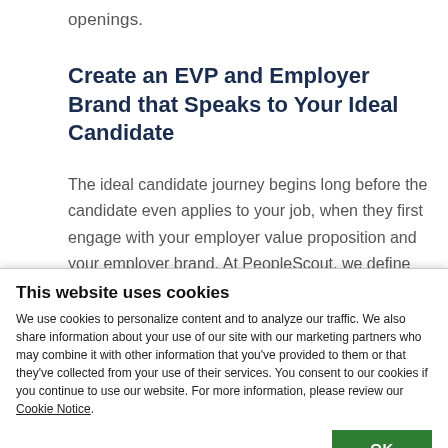openings.
Create an EVP and Employer Brand that Speaks to Your Ideal Candidate
The ideal candidate journey begins long before the candidate even applies to your job, when they first engage with your employer value proposition and your employer brand. At PeopleScout, we define your EVP
This website uses cookies
We use cookies to personalize content and to analyze our traffic. We also share information about your use of our site with our marketing partners who may combine it with other information that you've provided to them or that they've collected from your use of their services. You consent to our cookies if you continue to use our website. For more information, please review our Cookie Notice.
OK
Necessary   Preferences   Statistics   Marketing   Show details